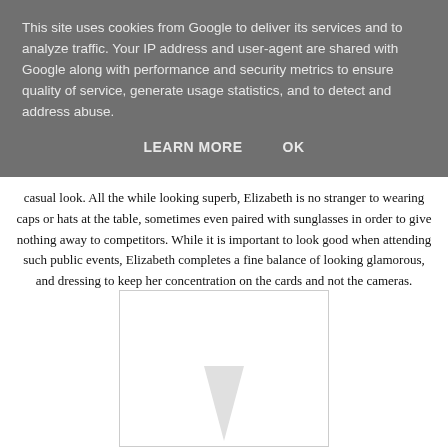This site uses cookies from Google to deliver its services and to analyze traffic. Your IP address and user-agent are shared with Google along with performance and security metrics to ensure quality of service, generate usage statistics, and to detect and address abuse.
LEARN MORE    OK
casual look. All the while looking superb, Elizabeth is no stranger to wearing caps or hats at the table, sometimes even paired with sunglasses in order to give nothing away to competitors. While it is important to look good when attending such public events, Elizabeth completes a fine balance of looking glamorous, and dressing to keep her concentration on the cards and not the cameras.
[Figure (photo): A partially visible image placeholder with a light gray triangular shape at the bottom center, inside a white bordered rectangle.]